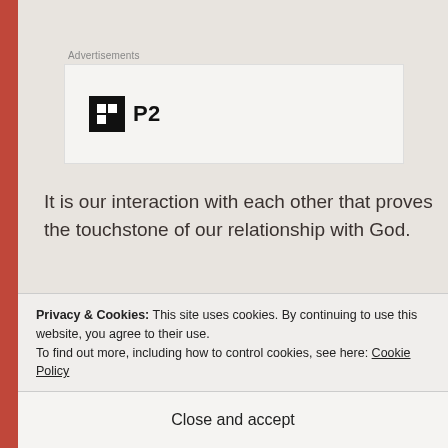Advertisements
[Figure (logo): P2 logo — black square icon with grid pattern on left, bold text 'P2' on right]
It is our interaction with each other that proves the touchstone of our relationship with God.
How are you doing?
Where can see you God's love in your care of
Privacy & Cookies: This site uses cookies. By continuing to use this website, you agree to their use.
To find out more, including how to control cookies, see here: Cookie Policy
Close and accept